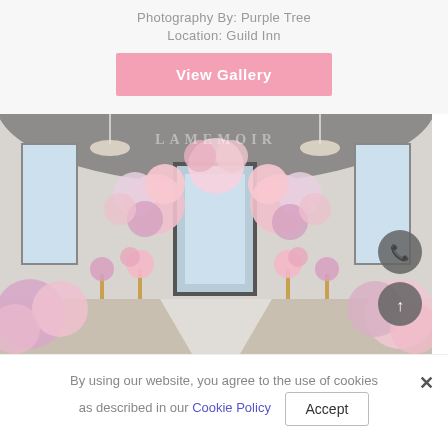Photography By: Purple Tree
Location: Guild Inn
View Gallery
[Figure (photo): Wedding ceremony hall with abundant pink, peach, and white floral arrangements along the aisle and at the altar, chandelier-lit grand ballroom, with LAMEMOIR watermark overlay. Phone and scroll-up circular icon buttons overlaid on right side.]
By using our website, you agree to the use of cookies as described in our Cookie Policy  Accept  ✕